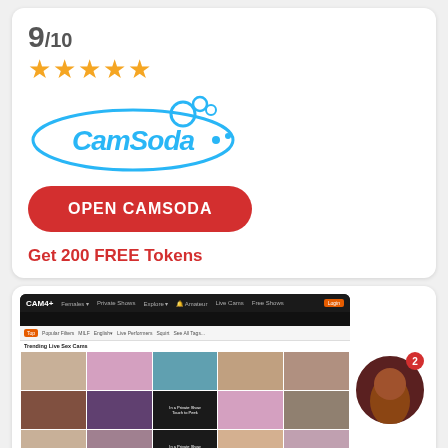9/10
[Figure (illustration): Five gold star rating icons]
[Figure (logo): CamSoda logo in light blue script lettering with bubble dots]
OPEN CAMSODA
Get 200 FREE Tokens
[Figure (screenshot): CAM4 website screenshot showing live sex cams grid with trending performers, dark header navigation, and category filter bar]